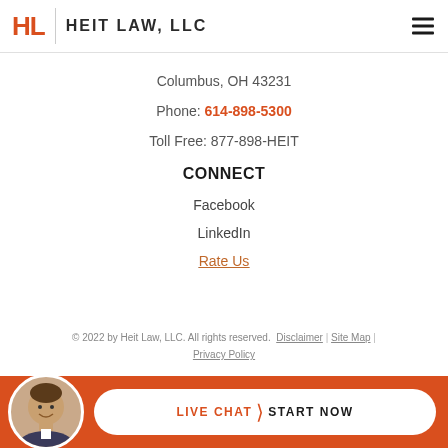HL HEIT LAW, LLC
Columbus, OH 43231
Phone: 614-898-5300
Toll Free: 877-898-HEIT
CONNECT
Facebook
LinkedIn
Rate Us
© 2022 by Heit Law, LLC. All rights reserved. Disclaimer | Site Map | Privacy Policy
LIVE CHAT > START NOW